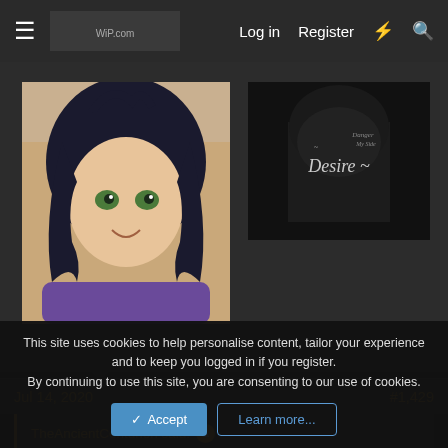≡  [logo]  Log in  Register  ⚡  🔍
[Figure (illustration): Anime-style girl with green eyes and dark hair on light background, left panel]
[Figure (illustration): Dark image with text 'Desire ~' in cursive, right panel]
Jul 14, 2020    #1,429
TheAncientCenturion said: ↑

Deal.

@RayanOO @Cobra. @Natalija

Unvote
Vote lynch @SethTrollins @Dragomir
This site uses cookies to help personalise content, tailor your experience and to keep you logged in if you register.
By continuing to use this site, you are consenting to our use of cookies.
Accept   Learn more...